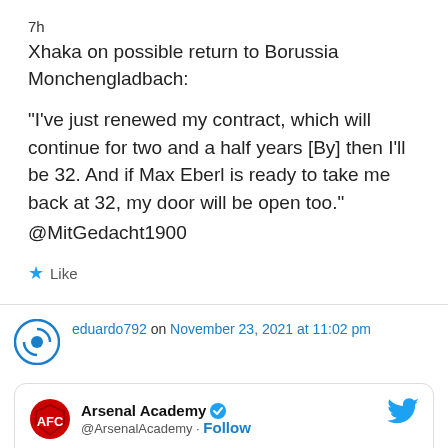7h
Xhaka on possible return to Borussia Monchengladbach:
“I’ve just renewed my contract, which will continue for two and a half years [By] then I’ll be 32. And if Max Eberl is ready to take me back at 32, my door will be open too.” @MitGedacht1900
★ Like
eduardo792 on November 23, 2021 at 11:02 pm
[Figure (screenshot): Embedded tweet from Arsenal Academy (@ArsenalAcademy) with Follow button and Twitter bird icon, showing text: Biereth making defenders dizzy with turns like that]
Biereth making defenders dizzy with turns like that